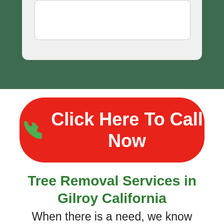[Figure (screenshot): Top portion of a webpage showing a dark green background with a light gray card containing a white rounded rectangle input box, partially cropped at the top.]
[Figure (infographic): Red rounded pill-shaped button with a green phone icon on the left and white bold text reading 'Click Here To Call Now']
Tree Removal Services in Gilroy California
When there is a need, we know